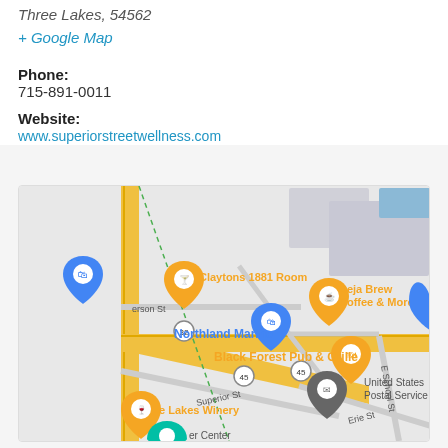Three Lakes, 54562
+ Google Map
Phone:
715-891-0011
Website:
www.superiorstreetwellness.com
[Figure (map): Google Map showing Three Lakes area with markers for Claytons 1881 Room, Deja Brew Coffee & More, Northland Marine, Black Forest Pub & Grille, United States Postal Service, Lakes Winery, and other local businesses. Streets visible include Superior St, Erie St, E School St, and route 45 and 32.]